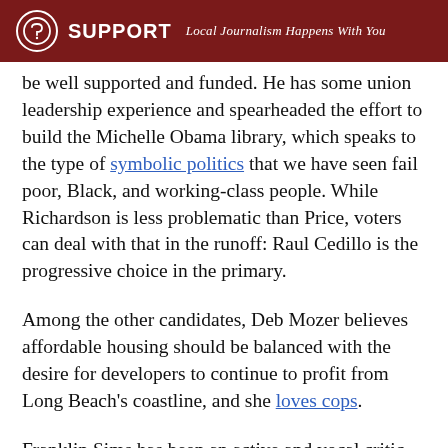SUPPORT  Local Journalism Happens With You
be well supported and funded. He has some union leadership experience and spearheaded the effort to build the Michelle Obama library, which speaks to the type of symbolic politics that we have seen fail poor, Black, and working-class people. While Richardson is less problematic than Price, voters can deal with that in the runoff: Raul Cedillo is the progressive choice in the primary.
Among the other candidates, Deb Mozer believes affordable housing should be balanced with the desire for developers to continue to profit from Long Beach’s coastline, and she loves cops.
Franklin Sims has been an active and vocal critic